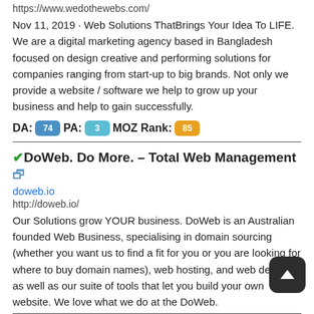https://www.wedothewebs.com/
Nov 11, 2019 · Web Solutions ThatBrings Your Idea To LIFE. We are a digital marketing agency based in Bangladesh focused on design creative and performing solutions for companies ranging from start-up to big brands. Not only we provide a website / software we help to grow up your business and help to gain successfully.
DA: 74  PA: 3  MOZ Rank: 85
✔DoWeb. Do More. – Total Web Management 🔗
doweb.io
http://doweb.io/
Our Solutions grow YOUR business. DoWeb is an Australian founded Web Business, specialising in domain sourcing (whether you want us to find a fit for you or you are looking for where to buy domain names), web hosting, and web design - as well as our suite of tools that let you build your own website. We love what we do at the DoWeb.
DA: 77  PA: 23  MOZ Rank: 60